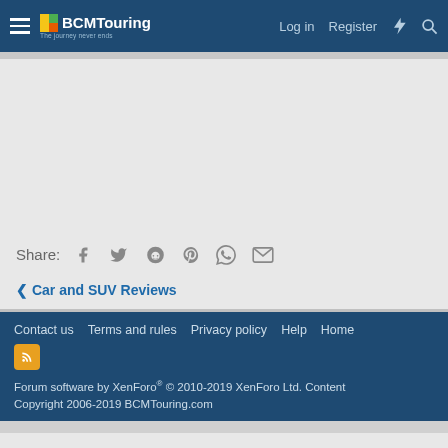BCMTouring — Log in | Register
Share:
< Car and SUV Reviews
Contact us  Terms and rules  Privacy policy  Help  Home
Forum software by XenForo® © 2010-2019 XenForo Ltd. Content Copyright 2006-2019 BCMTouring.com